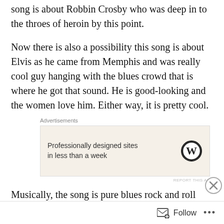song is about Robbin Crosby who was deep in to the throes of heroin by this point.
Now there is also a possibility this song is about Elvis as he came from Memphis and was really cool guy hanging with the blues crowd that is where he got that sound. He is good-looking and the women love him. Either way, it is pretty cool.
[Figure (other): WordPress advertisement banner: 'Professionally designed sites in less than a week' with WordPress logo on beige background]
Musically, the song is pure blues rock and roll from the gritty slide guitars by Warren DeMartini and Robbin
[Figure (other): Advertisements strip showing cosmetic/beauty product images with SHOP button]
Follow ...